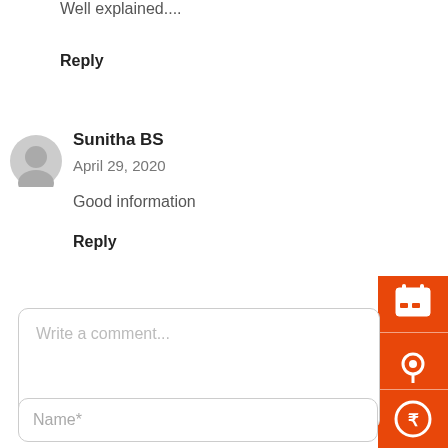Well explained....
Reply
Sunitha BS
April 29, 2020
Good information
Reply
[Figure (other): Orange sidebar with calendar icon, location pin icon, and Indian Rupee coin icon]
Write a comment...
Name*